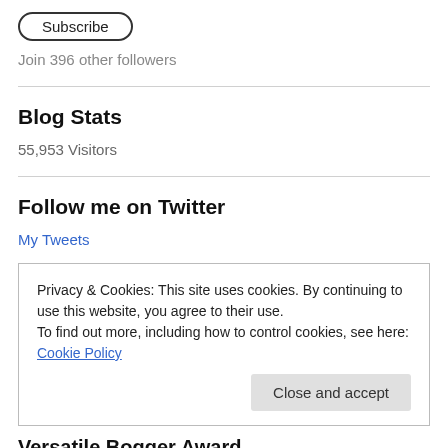[Figure (other): Subscribe button with rounded rectangle border]
Join 396 other followers
Blog Stats
55,953 Visitors
Follow me on Twitter
My Tweets
Privacy & Cookies: This site uses cookies. By continuing to use this website, you agree to their use.
To find out more, including how to control cookies, see here: Cookie Policy
Close and accept
Versatile Bogger Award